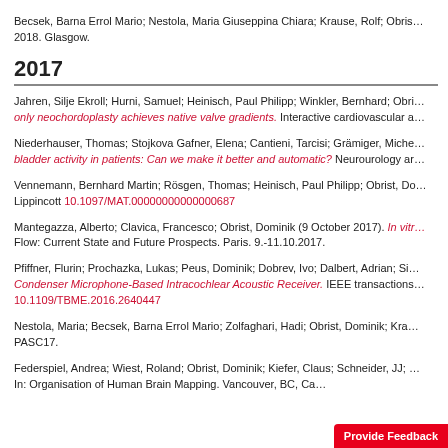Becsek, Barna Errol Mario; Nestola, Maria Giuseppina Chiara; Krause, Rolf; Obris… 2018. Glasgow.
2017
Jahren, Silje Ekroll; Hurni, Samuel; Heinisch, Paul Philipp; Winkler, Bernhard; Obri… only neochordoplasty achieves native valve gradients. Interactive cardiovascular a…
Niederhauser, Thomas; Stojkova Gafner, Elena; Cantieni, Tarcisi; Grämiger, Miche… bladder activity in patients: Can we make it better and automatic? Neurourology ar…
Vennemann, Bernhard Martin; Rösgen, Thomas; Heinisch, Paul Philipp; Obrist, Do… Lippincott 10.1097/MAT.00000000000000687
Mantegazza, Alberto; Clavica, Francesco; Obrist, Dominik (9 October 2017). In vitr… Flow: Current State and Future Prospects. Paris. 9.-11.10.2017.
Pfiffner, Flurin; Prochazka, Lukas; Peus, Dominik; Dobrev, Ivo; Dalbert, Adrian; Si… Condenser Microphone-Based Intracochlear Acoustic Receiver. IEEE transactions… 10.1109/TBME.2016.2640447
Nestola, Maria; Becsek, Barna Errol Mario; Zolfaghari, Hadi; Obrist, Dominik; Kra… PASC17.
Federspiel, Andrea; Wiest, Roland; Obrist, Dominik; Kiefer, Claus; Schneider, JJ; … In: Organisation of Human Brain Mapping. Vancouver, BC, Ca… June … 2017.